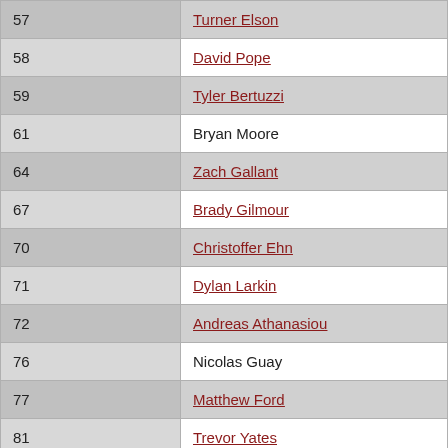| # | Player |
| --- | --- |
| 57 | Turner Elson |
| 58 | David Pope |
| 59 | Tyler Bertuzzi |
| 61 | Bryan Moore |
| 64 | Zach Gallant |
| 67 | Brady Gilmour |
| 70 | Christoffer Ehn |
| 71 | Dylan Larkin |
| 72 | Andreas Athanasiou |
| 76 | Nicolas Guay |
| 77 | Matthew Ford |
| 81 | Trevor Yates |
| 85 | Luke Kirwan |
| 88 | Carter Camper |
| 89 | ... |